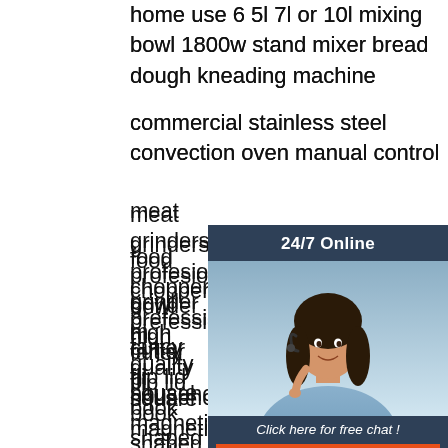home use 6 5l 7l or 10l mixing bowl 1800w stand mixer bread dough kneading machine
commercial stainless steel convection oven manual control
meat grinders profesional grinder m...
food chopper prefessional cutter bl...
bowl high quality household
fancy flip lid book shaped candy git...
square magnetic cardboard christm...
chocolate boxes tray dividers
high speed 220v aluminum metal m... chopper electric food meat grinders... household
private el household universal portable low noise home appliance blender
commercial counter stainless steel electric buffet soup food warmer marie
[Figure (other): 24/7 Online chat widget with a customer service representative photo, 'Click here for free chat!' text, and an orange QUOTATION button]
[Figure (other): Orange and grey TOP button with house icon and dot decoration]